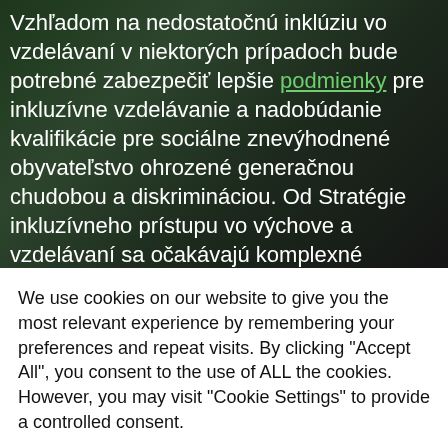Vzhľadom na nedostatočnú inklúziu vo vzdelávaní v niektorých prípadoch bude potrebné zabezpečiť lepšie podmienky pre inkluzívne vzdelávanie a nadobúdanie kvalifikácie pre sociálne znevýhodnené obyvateľstvo ohrozené generačnou chudobou a diskrimináciou. Od Stratégie inkluzívneho prístupu vo výchove a vzdelávaní sa očakávajú komplexné opatrenia vrátane finančného zabezpečenia tak preventívnych ako aj korektívnych opatrení. Cieľom je vzdelávanie zabezpečujúce rovnaké možnosti pre všetkých podľa ich schopností a možností. So
We use cookies on our website to give you the most relevant experience by remembering your preferences and repeat visits. By clicking "Accept All", you consent to the use of ALL the cookies. However, you may visit "Cookie Settings" to provide a controlled consent.